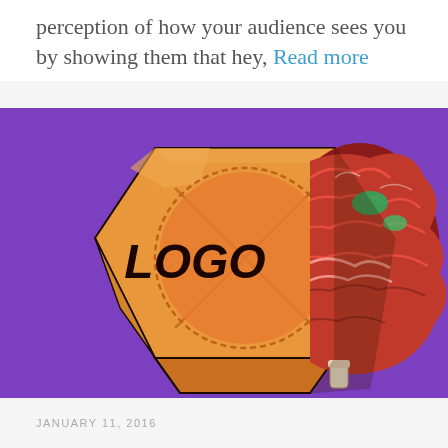perception of how your audience sees you by showing them that hey, Read more
[Figure (illustration): Split illustration on purple background: left half shows an orange hexagonal logo box with a dashed circle and X pattern with the word LOGO in bold italic black text; right half reveals a detailed anatomical brain illustration in red/pink tones with green and white accents, suggesting what's inside the logo box.]
JANUARY 11, 2016